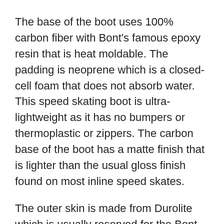The base of the boot uses 100% carbon fiber with Bont's famous epoxy resin that is heat moldable. The padding is neoprene which is a closed-cell foam that does not absorb water. This speed skating boot is ultra-lightweight as it has no bumpers or thermoplastic or zippers. The carbon base of the boot has a matte finish that is lighter than the usual gloss finish found on most inline speed skates.
The outer skin is made from Durolite which is usually reserved for the Bont Vaypor and the liner is Suede-L which feels great with or without socks on.
The mounting blocks are made of aluminum with a hardened steel nut. Did you know that Bont has never received a single skate returned due to mounting block issues? Our system is foolproof.